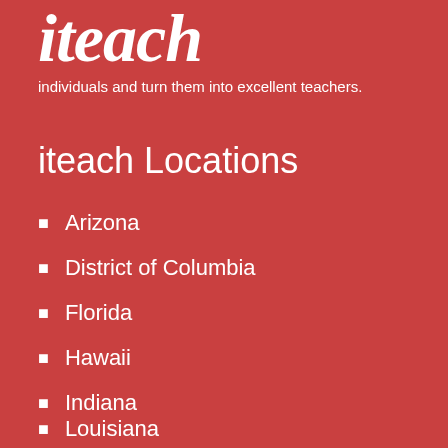[Figure (logo): iteach logo in large italic serif white font on red background]
individuals and turn them into excellent teachers.
iteach Locations
Arizona
District of Columbia
Florida
Hawaii
Indiana
Louisiana